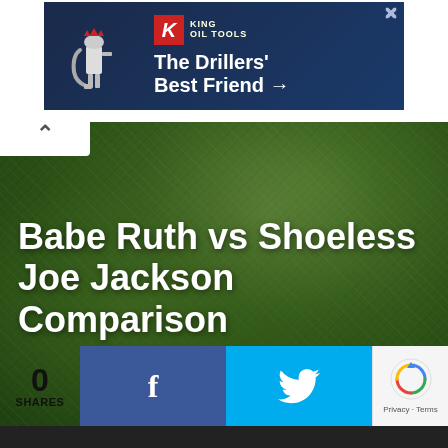[Figure (other): Advertisement banner for King Oil Tools — 'The Drillers' Best Friend →' with drill rig icon and King logo on dark blue background]
[Figure (photo): Green grass field texture background image]
Babe Ruth vs Shoeless Joe Jackson Comparison
[Figure (other): Social share bar: 0 SHARES count, Facebook share button (dark blue with f), Twitter share button (light blue with bird icon), reCAPTCHA privacy widget]